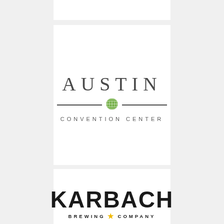[Figure (logo): Austin Convention Center logo: large grey serif 'AUSTIN' text with a horizontal rule divided by a green globe icon, and 'CONVENTION CENTER' in small spaced sans-serif below]
[Figure (logo): Karbach Brewing Company logo: bold black sans-serif 'KARBACH' text with 'BREWING COMPANY' in smaller bold spaced text below, separated by a gold star]